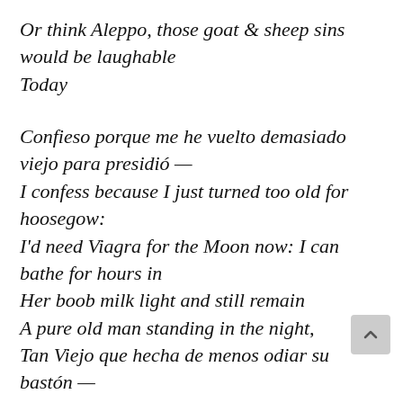Or think Aleppo, those goat & sheep sins would be laughable
Today

Confieso porque me he vuelto demasiado viejo para presidió —
I confess because I just turned too old for hoosegow:
I'd need Viagra for the Moon now: I can bathe for hours in
Her boob milk light and still remain
A pure old man standing in the night,
Tan Viejo que hecha de menos odiar su bastón —
So old that he misses hating his walking